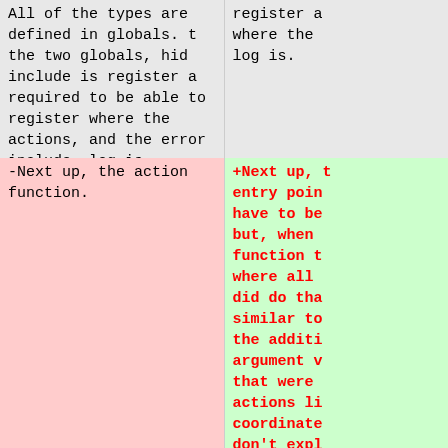All of the types are defined in globals. the two globals, hid include is required to be able to register actions, and the error include is where the function that prints to the message log is.
register a where the log is.
-Next up, the action function.
+Next up, t entry poin have to be but, when function t where all did do tha similar to the additi argument v that were actions li coordinate don't expl